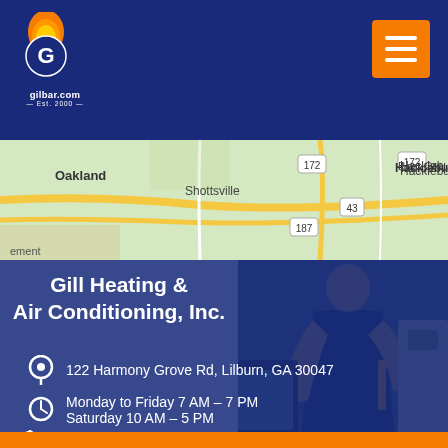[Figure (logo): Gill Air (gilbar.com) logo with flame and G letter on navy background header]
[Figure (map): Google Maps view showing Oakland, Shottsville, Hackleburg, Bear Creek area with route 172, 187, 43]
Gill Heating & Air Conditioning, Inc.
122 Harmony Grove Rd, Lilburn, GA 30047
Monday to Friday 7 AM – 7 PM
Saturday 10 AM – 5 PM
(770) 921-8500